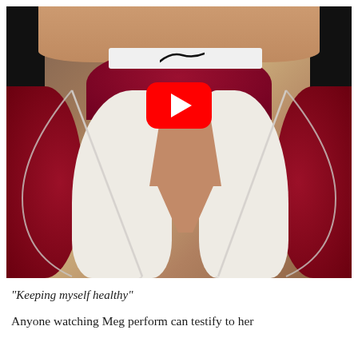[Figure (photo): A woman wearing a white and dark maroon/burgundy glitter halter top with rhinestone trim and a Nike branded choker, with a YouTube play button overlay on the image. Background shows dressing room mirror lights.]
"Keeping myself healthy"
Anyone watching Meg perform can testify to her